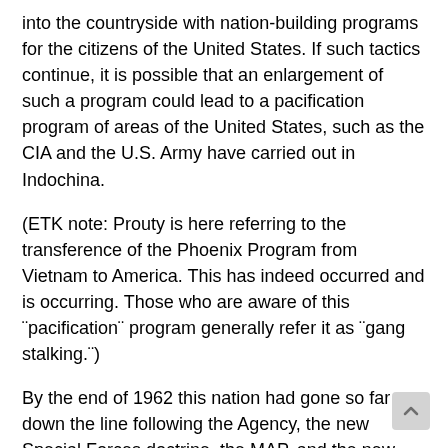into the countryside with nation-building programs for the citizens of the United States. If such tactics continue, it is possible that an enlargement of such a program could lead to a pacification program of areas of the United States, such as the CIA and the U.S. Army have carried out in Indochina.
(ETK note: Prouty is here referring to the transference of the Phoenix Program from Vietnam to America. This has indeed occurred and is occurring. Those who are aware of this ¨pacification¨ program generally refer it as ¨gang stalking.¨)
By the end of 1962 this nation had gone so far down the line following the Agency, the new Special Forces doctrine, the MAP, and the new U.S. philosophy as outlined in the President´s